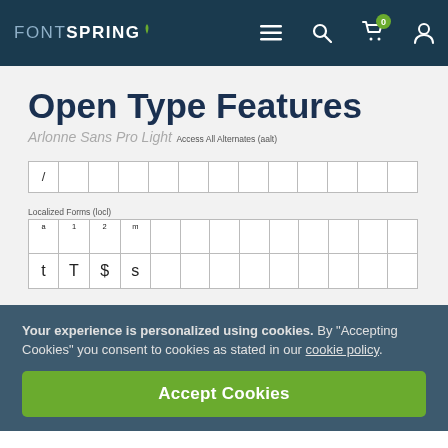FONTSPRING — navigation bar with menu, search, cart (0), and user icons
Open Type Features
Arlonne Sans Pro Light
Access All Alternates (aalt)
|  |  |  |  |  |  |  |  |  |  |  |  |  |
| --- | --- | --- | --- | --- | --- | --- | --- | --- | --- | --- | --- | --- |
| / |  |  |  |  |  |  |  |  |  |  |  |  |
Localized Forms (locl)
| a | 1 | 2 | m |
| --- | --- | --- | --- |
| t | T | $ | s |  |  |  |  |  |  |  |  |  |
Your experience is personalized using cookies. By “Accepting Cookies” you consent to cookies as stated in our cookie policy.
Accept Cookies